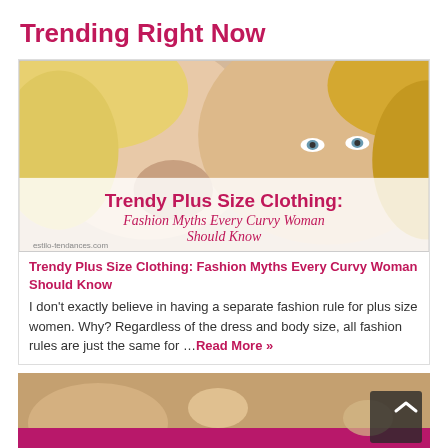Trending Right Now
[Figure (photo): Two blonde women, one whispering into the other's ear, with overlay text: 'Trendy Plus Size Clothing: Fashion Myths Every Curvy Woman Should Know' and watermark 'estilo-tendances.com']
Trendy Plus Size Clothing: Fashion Myths Every Curvy Woman Should Know
I don't exactly believe in having a separate fashion rule for plus size women. Why? Regardless of the dress and body size, all fashion rules are just the same for …Read More »
[Figure (photo): Blurred background photo of a spa/chocolate/candles scene with a dark scroll-to-top button showing an upward chevron arrow]